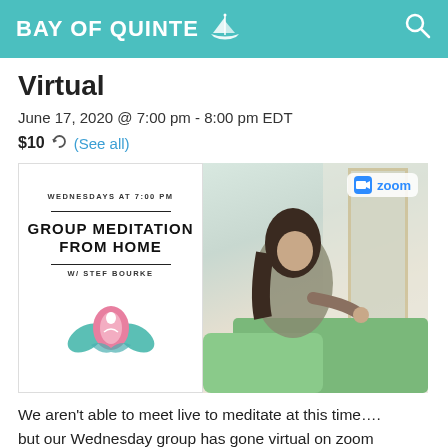BAY OF QUINTE
Virtual
June 17, 2020 @ 7:00 pm - 8:00 pm EDT
$10  (See all)
[Figure (illustration): Left: Group Meditation From Home promo card with lotus logo, 'WEDNESDAYS AT 7:00 PM', 'GROUP MEDITATION FROM HOME', 'W/ STEF BOURKE'. Right: Photo of woman meditating by window on green blanket with Zoom logo badge.]
We aren't able to meet live to meditate at this time…. but our Wednesday group has gone virtual on zoom